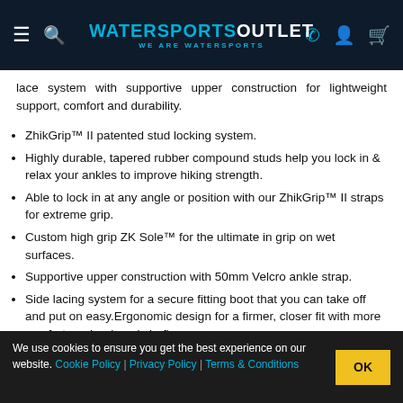WATERSPORTS OUTLET - WE ARE WATERSPORTS
lace system with supportive upper construction for lightweight support, comfort and durability.
ZhikGrip™ II patented stud locking system.
Highly durable, tapered rubber compound studs help you lock in & relax your ankles to improve hiking strength.
Able to lock in at any angle or position with our ZhikGrip™ II straps for extreme grip.
Custom high grip ZK Sole™ for the ultimate in grip on wet surfaces.
Supportive upper construction with 50mm Velcro ankle strap.
Side lacing system for a secure fitting boot that you can take off and put on easy.Ergonomic design for a firmer, closer fit with more comfort, and reduced chafing.
2mm neoprene, lightweight high cut race boot for flexible support, comfort and durability.
...while remaining supported
We use cookies to ensure you get the best experience on our website. Cookie Policy | Privacy Policy | Terms & Conditions
+ Delivery & returns